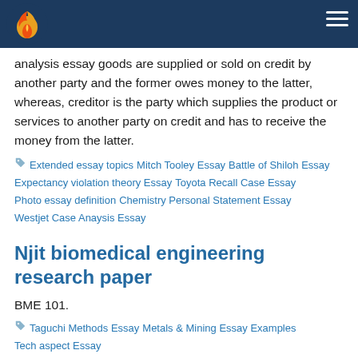analysis essay goods are supplied or sold on credit by another party and the former owes money to the latter, whereas, creditor is the party which supplies the product or services to another party on credit and has to receive the money from the latter.
Extended essay topics  Mitch Tooley Essay  Battle of Shiloh Essay  Expectancy violation theory Essay  Toyota Recall Case Essay  Photo essay definition  Chemistry Personal Statement Essay  Westjet Case Anaysis Essay
Njit biomedical engineering research paper
BME 101.
Taguchi Methods Essay  Metals & Mining Essay Examples  Tech aspect Essay